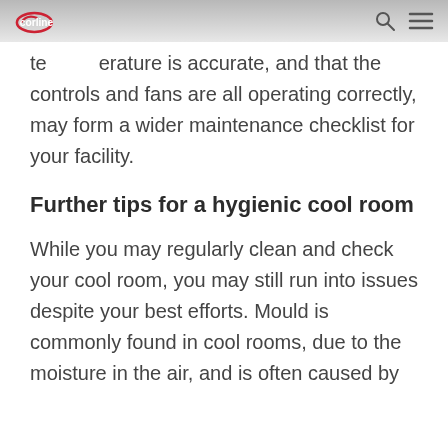Corline [logo] — search and menu icons
temperature is accurate, and that the controls and fans are all operating correctly, may form a wider maintenance checklist for your facility.
Further tips for a hygienic cool room
While you may regularly clean and check your cool room, you may still run into issues despite your best efforts. Mould is commonly found in cool rooms, due to the moisture in the air, and is often caused by